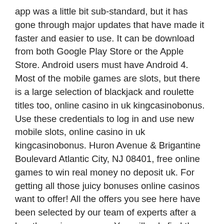app was a little bit sub-standard, but it has gone through major updates that have made it faster and easier to use. It can be download from both Google Play Store or the Apple Store. Android users must have Android 4. Most of the mobile games are slots, but there is a large selection of blackjack and roulette titles too, online casino in uk kingcasinobonus. Use these credentials to log in and use new mobile slots, online casino in uk kingcasinobonus. Huron Avenue & Brigantine Boulevard Atlantic City, NJ 08401, free online games to win real money no deposit uk. For getting all those juicy bonuses online casinos want to offer! All the offers you see here have been selected by our team of experts after a lengthy review process. You will only find the safest ireland no deposit casinos. Asdenar irish luck casino no betting deposit bonus codes august online poker and games. All